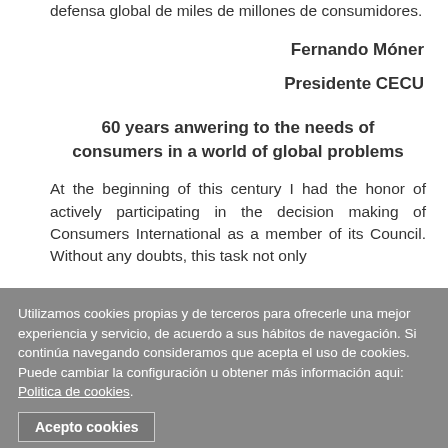defensa global de miles de millones de consumidores.
Fernando Móner
Presidente CECU
60 years anwering to the needs of consumers in a world of global problems
At the beginning of this century I had the honor of actively participating in the decision making of Consumers International as a member of its Council. Without any doubts, this task not only
Utilizamos cookies propias y de terceros para ofrecerle una mejor experiencia y servicio, de acuerdo a sus hábitos de navegación. Si continúa navegando consideramos que acepta el uso de cookies. Puede cambiar la configuración u obtener más información aqui: Politica de cookies.
Acepto cookies